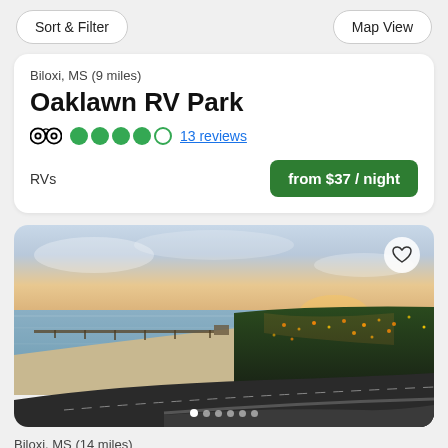Sort & Filter | Map View
Biloxi, MS (9 miles)
Oaklawn RV Park
4 out of 5 stars · 13 reviews
RVs
from $37 / night
[Figure (photo): Aerial twilight photo of Biloxi, MS coastline showing a long pier extending into the water, beach shoreline curving into the distance, city lights, and a highway overpass in the foreground]
Biloxi, MS (14 miles)